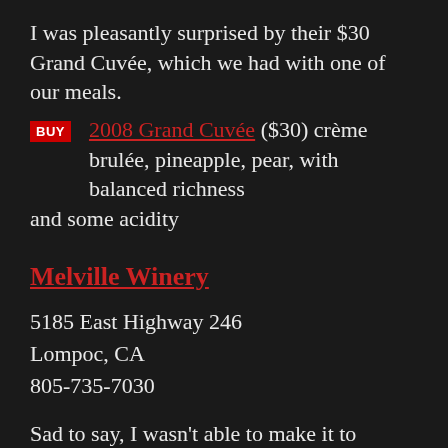I was pleasantly surprised by their $30 Grand Cuvée, which we had with one of our meals.
BUY 2008 Grand Cuvée ($30) crème brulée, pineapple, pear, with balanced richness and some acidity
Melville Winery
5185 East Highway 246
Lompoc, CA
805-735-7030
Sad to say, I wasn't able to make it to Melville this time around. However, it came very highly